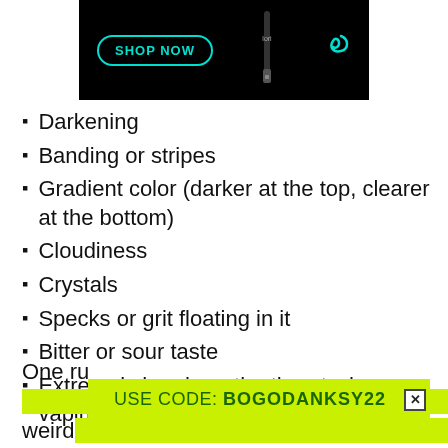[Figure (photo): Dark advertisement banner with 'SHOP NOW' button in teal/cyan outline, a vape pen silhouette, and a swirl logo icon on black background.]
Darkening
Banding or stripes
Gradient color (darker at the top, clearer at the bottom)
Cloudiness
Crystals
Specks or grit floating in it
Bitter or sour taste
Extremely harsh on the throat when vaping
One ru... mely weird ...
[Figure (infographic): Promotional banner: USE CODE: BOGODANKSY22 on lime green background with close button.]